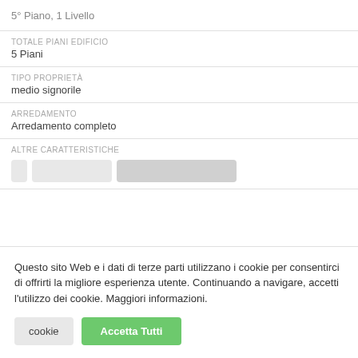5° Piano, 1 Livello
TOTALE PIANI EDIFICIO
5 Piani
TIPO PROPRIETÀ
medio signorile
ARREDAMENTO
Arredamento completo
ALTRE CARATTERISTICHE
Questo sito Web e i dati di terze parti utilizzano i cookie per consentirci di offrirti la migliore esperienza utente. Continuando a navigare, accetti l'utilizzo dei cookie. Maggiori informazioni.